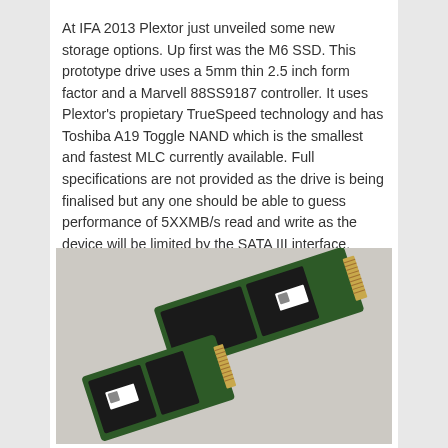At IFA 2013 Plextor just unveiled some new storage options. Up first was the M6 SSD. This prototype drive uses a 5mm thin 2.5 inch form factor and a Marvell 88SS9187 controller. It uses Plextor's propietary TrueSpeed technology and has Toshiba A19 Toggle NAND which is the smallest and fastest MLC currently available. Full specifications are not provided as the drive is being finalised but any one should be able to guess performance of 5XXMB/s read and write as the device will be limited by the SATA III interface.
[Figure (photo): Two M.2 SSD circuit boards (M6 SSDs) of different lengths shown side by side on a light grey background. Both are green PCBs with black NAND flash chips, small labels/QR codes, and gold edge connectors.]